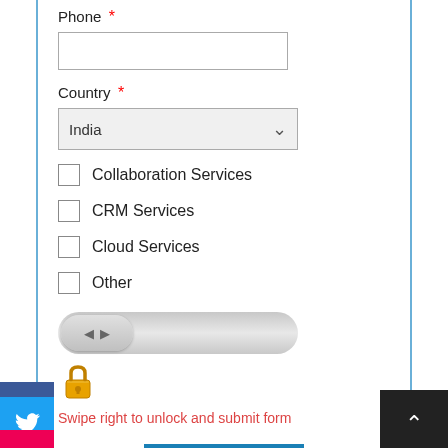Phone *
[Figure (screenshot): Text input field for Phone]
Country *
[Figure (screenshot): Dropdown select showing India with down arrow]
Collaboration Services (checkbox unchecked)
CRM Services (checkbox unchecked)
Cloud Services (checkbox unchecked)
Other (checkbox unchecked)
[Figure (screenshot): Swipe slider with left/right arrows and track]
[Figure (illustration): Yellow padlock icon]
Swipe right to unlock and submit form
[Figure (screenshot): SUBMIT button in blue]
[Figure (logo): Facebook icon - blue square with white f]
[Figure (logo): Twitter icon - blue square with white bird]
[Figure (logo): Red social icon partial]
[Figure (screenshot): Dark up arrow button bottom right]